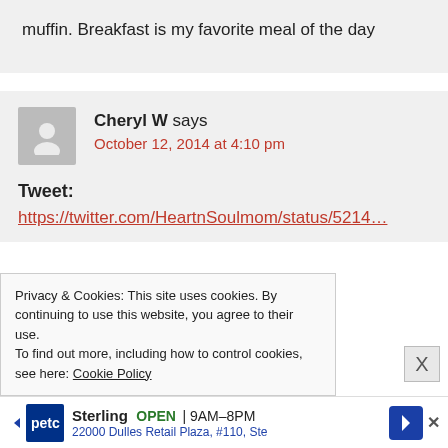muffin. Breakfast is my favorite meal of the day
Cheryl W says
October 12, 2014 at 4:10 pm
Tweet:
https://twitter.com/HeartnSoulmom/status/5214…
Privacy & Cookies: This site uses cookies. By continuing to use this website, you agree to their use.
To find out more, including how to control cookies, see here: Cookie Policy
Sterling OPEN | 9AM–8PM
22000 Dulles Retail Plaza, #110, Ste